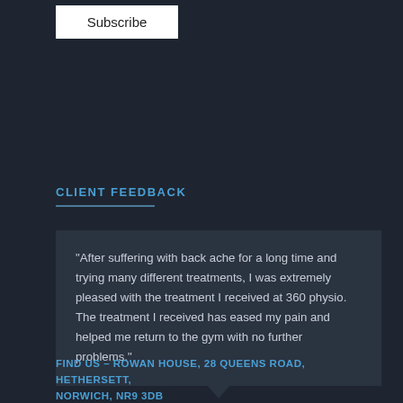Subscribe
CLIENT FEEDBACK
"After suffering with back ache for a long time and trying many different treatments, I was extremely pleased with the treatment I received at 360 physio. The treatment I received has eased my pain and helped me return to the gym with no further problems."
Rachel, 28
Wymondham
FIND US – ROWAN HOUSE, 28 QUEENS ROAD, HETHERSETT, NORWICH, NR9 3DB